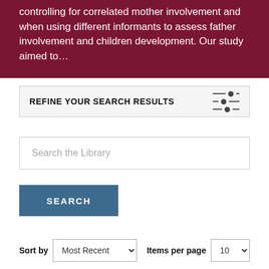controlling for correlated mother involvement and when using different informants to assess father involvement and children development. Our study aimed to…
REFINE YOUR SEARCH RESULTS
[Figure (illustration): Sliders/filter icon with three horizontal lines and circular dots at different positions indicating filter controls]
Search the Library
SEARCH
Sort by  Most Recent   Items per page  10